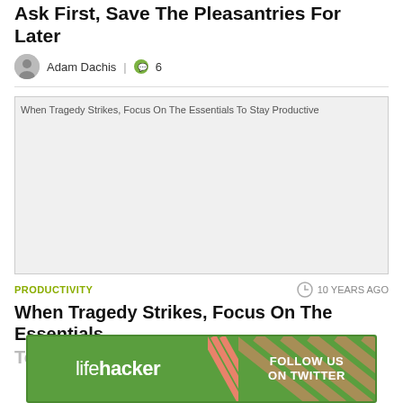Ask First, Save The Pleasantries For Later
Adam Dachis | 6
[Figure (photo): Placeholder image for article 'When Tragedy Strikes, Focus On The Essentials To Stay Productive' — large grey rectangle with broken image text]
PRODUCTIVITY
10 YEARS AGO
When Tragedy Strikes, Focus On The Essentials To Sta...
[Figure (other): Lifehacker advertisement banner: left side shows 'lifehacker' logo in white on green background, right side shows 'FOLLOW US ON TWITTER' with salmon/coral diagonal stripe decoration]